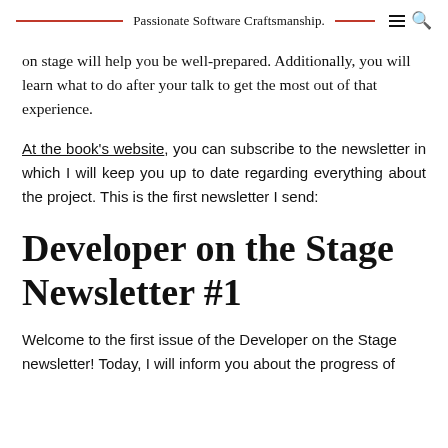Passionate Software Craftsmanship.
on stage will help you be well-prepared. Additionally, you will learn what to do after your talk to get the most out of that experience.
At the book's website, you can subscribe to the newsletter in which I will keep you up to date regarding everything about the project. This is the first newsletter I send:
Developer on the Stage Newsletter #1
Welcome to the first issue of the Developer on the Stage newsletter! Today, I will inform you about the progress of